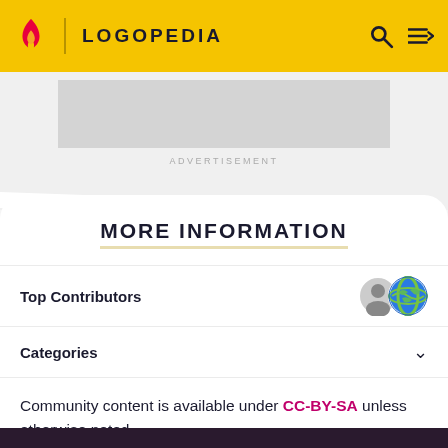LOGOPEDIA
[Figure (screenshot): Advertisement banner placeholder (grey rectangle)]
ADVERTISEMENT
MORE INFORMATION
Top Contributors
Categories
Community content is available under CC-BY-SA unless otherwise noted.